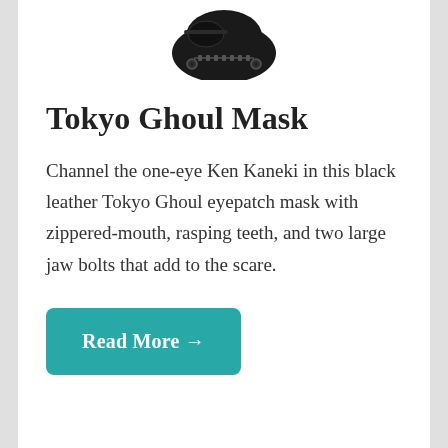[Figure (photo): Black leather Tokyo Ghoul eyepatch mask product photo, shown from above against a dark background]
Tokyo Ghoul Mask
Channel the one-eye Ken Kaneki in this black leather Tokyo Ghoul eyepatch mask with zippered-mouth, rasping teeth, and two large jaw bolts that add to the scare.
Read More →